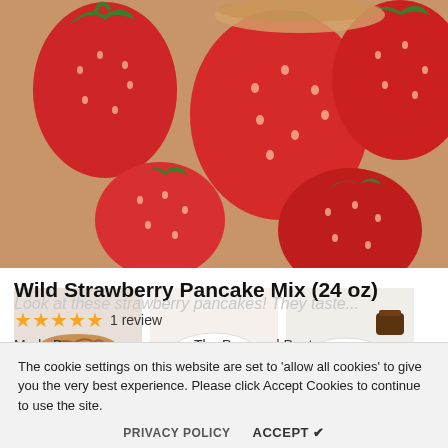[Figure (photo): Main product photo: close-up of fresh red strawberries on a wooden surface, with a pancake partially visible in background.]
[Figure (photo): Thumbnail 1: stack of pancakes with strawberries around them on a plate.]
[Figure (photo): Thumbnail 2: pancakes topped with fresh strawberries on a white plate.]
[Figure (photo): Thumbnail 3: pancakes with strawberries and sauce on a white plate.]
Wild Strawberry Pancake Mix (24 oz)
★★★★★ 1 review
Made By:  The Prepared Pantry
SKU:  040-S
$9.99
Look at these strawberry pancakes! They taste...
The cookie settings on this website are set to 'allow all cookies' to give you the very best experience. Please click Accept Cookies to continue to use the site.
PRIVACY POLICY   ACCEPT ✔